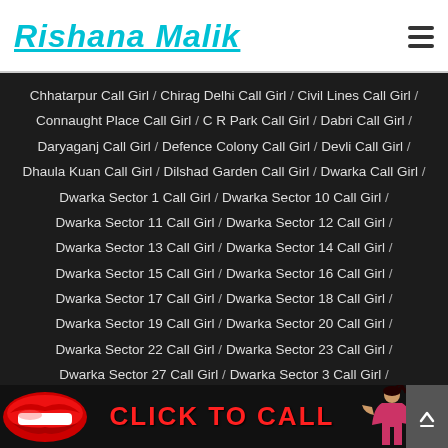Rishana Malik
Chhatarpur Call Girl / Chirag Delhi Call Girl / Civil Lines Call Girl / Connaught Place Call Girl / C R Park Call Girl / Dabri Call Girl / Daryaganj Call Girl / Defence Colony Call Girl / Devli Call Girl / Dhaula Kuan Call Girl / Dilshad Garden Call Girl / Dwarka Call Girl / Dwarka Sector 1 Call Girl / Dwarka Sector 10 Call Girl / Dwarka Sector 11 Call Girl / Dwarka Sector 12 Call Girl / Dwarka Sector 13 Call Girl / Dwarka Sector 14 Call Girl / Dwarka Sector 15 Call Girl / Dwarka Sector 16 Call Girl / Dwarka Sector 17 Call Girl / Dwarka Sector 18 Call Girl / Dwarka Sector 19 Call Girl / Dwarka Sector 20 Call Girl / Dwarka Sector 22 Call Girl / Dwarka Sector 23 Call Girl / Dwarka Sector 27 Call Girl / Dwarka Sector 3 Call Girl / Dwarka Sector 4 Call Girl / Dwarka Sector 5 Call Girl
[Figure (infographic): Red lips graphic on left, bold red CLICK TO CALL text in center, woman figure on right, dark background banner at bottom]